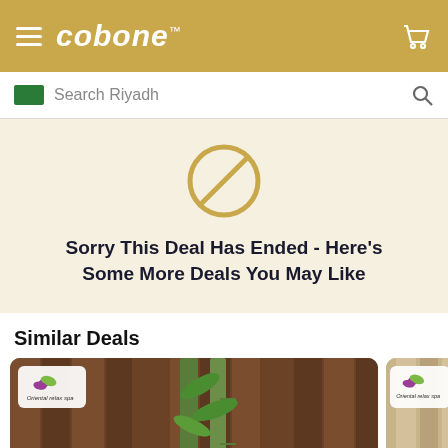cobone™ — navigation header with hamburger menu and cart icon
Search Riyadh
[Figure (screenshot): Deal ended notice with prohibition circle icon and message: Sorry This Deal Has Ended - Here's Some More Deals You May Like]
Sorry This Deal Has Ended - Here's Some More Deals You May Like
Similar Deals
[Figure (photo): Oriental Relax Spa deal card showing bamboo plant and zen stones on wooden background]
[Figure (photo): Second Oriental Relax Spa deal card (partially visible)]